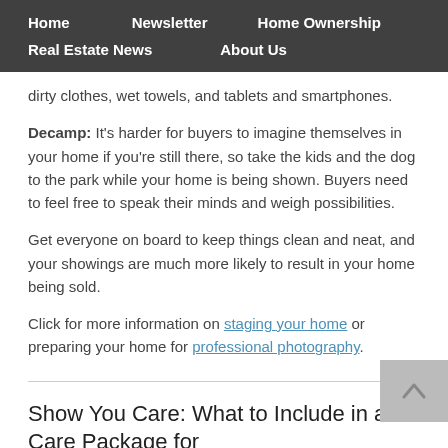Home   Newsletter   Home Ownership   Real Estate News   About Us
dirty clothes, wet towels, and tablets and smartphones.
Decamp: It's harder for buyers to imagine themselves in your home if you're still there, so take the kids and the dog to the park while your home is being shown. Buyers need to feel free to speak their minds and weigh possibilities.
Get everyone on board to keep things clean and neat, and your showings are much more likely to result in your home being sold.
Click for more information on staging your home or preparing your home for professional photography.
Show You Care: What to Include in a Care Package for